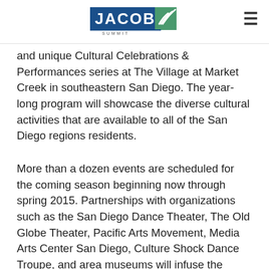JACOBS [logo with navigation hamburger menu]
and unique Cultural Celebrations & Performances series at The Village at Market Creek in southeastern San Diego. The year-long program will showcase the diverse cultural activities that are available to all of the San Diego regions residents.
More than a dozen events are scheduled for the coming season beginning now through spring 2015. Partnerships with organizations such as the San Diego Dance Theater, The Old Globe Theater, Pacific Arts Movement, Media Arts Center San Diego, Culture Shock Dance Troupe, and area museums will infuse the community with music, dance, theater, film, and more.
We are pleased to offer such a rich line-up of arts and culture events this season. We hope it brings new